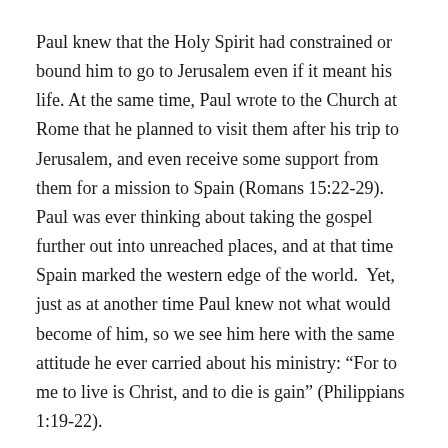Paul knew that the Holy Spirit had constrained or bound him to go to Jerusalem even if it meant his life. At the same time, Paul wrote to the Church at Rome that he planned to visit them after his trip to Jerusalem, and even receive some support from them for a mission to Spain (Romans 15:22-29). Paul was ever thinking about taking the gospel further out into unreached places, and at that time Spain marked the western edge of the world. Yet, just as at another time Paul knew not what would become of him, so we see him here with the same attitude he ever carried about his ministry: “For to me to live is Christ, and to die is gain” (Philippians 1:19-22).
The tribune could not just pretend that nothing